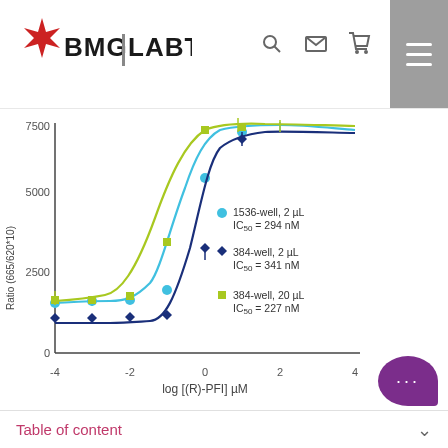[Figure (other): BMG Labtech logo with red star/cross icon]
[Figure (line-chart): ]
Miniaturization of the assay was very successful indicated by excellent data quality. The Z´ factors for the miniaturized assays were > 0.88 and agreed well to the assay parameters obtained for the
Table of content